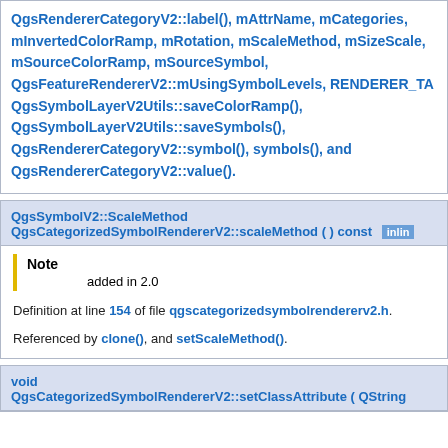QgsRendererCategoryV2::label(), mAttrName, mCategories, mInvertedColorRamp, mRotation, mScaleMethod, mSizeScale, mSourceColorRamp, mSourceSymbol, QgsFeatureRendererV2::mUsingSymbolLevels, RENDERER_TAG_NAME, QgsSymbolLayerV2Utils::saveColorRamp(), QgsSymbolLayerV2Utils::saveSymbols(), QgsRendererCategoryV2::symbol(), symbols(), and QgsRendererCategoryV2::value().
QgsSymbolV2::ScaleMethod QgsCategorizedSymbolRendererV2::scaleMethod ( ) const [inline]
Note
added in 2.0
Definition at line 154 of file qgscategorizedsymbolrendererv2.h.
Referenced by clone(), and setScaleMethod().
void QgsCategorizedSymbolRendererV2::setClassAttribute ( QString